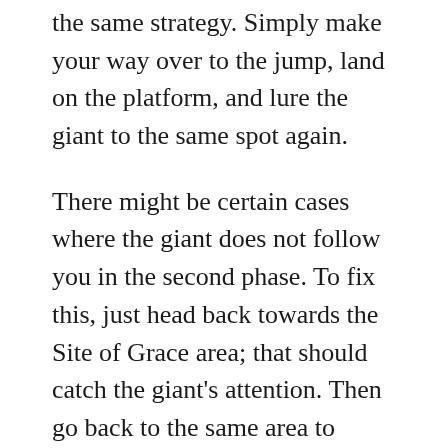the same strategy. Simply make your way over to the jump, land on the platform, and lure the giant to the same spot again.
There might be certain cases where the giant does not follow you in the second phase. To fix this, just head back towards the Site of Grace area; that should catch the giant’s attention. Then go back to the same area to continue hitting the giant with ranged weapons.
From here onwards, it is as simple as continuously attacking the Fire Giant till it dies.
Conclusion